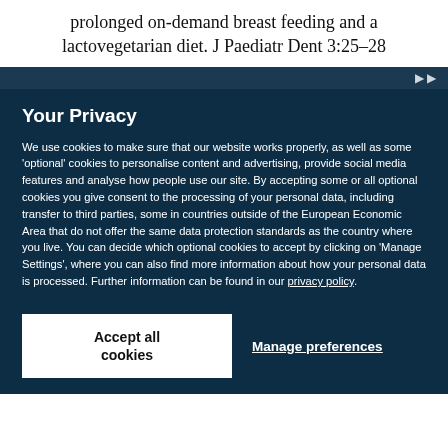prolonged on-demand breast feeding and a lactovegetarian diet. J Paediatr Dent 3:25–28
Your Privacy
We use cookies to make sure that our website works properly, as well as some 'optional' cookies to personalise content and advertising, provide social media features and analyse how people use our site. By accepting some or all optional cookies you give consent to the processing of your personal data, including transfer to third parties, some in countries outside of the European Economic Area that do not offer the same data protection standards as the country where you live. You can decide which optional cookies to accept by clicking on 'Manage Settings', where you can also find more information about how your personal data is processed. Further information can be found in our privacy policy.
Accept all cookies
Manage preferences